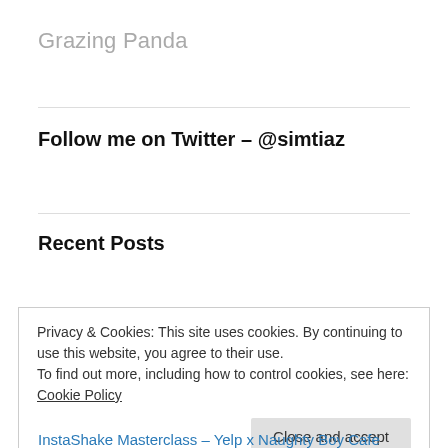Grazing Panda
Follow me on Twitter – @simtiaz
My Tweets
Recent Posts
L'Burger – L'Bloody Amazing Burgers!
Privacy & Cookies: This site uses cookies. By continuing to use this website, you agree to their use.
To find out more, including how to control cookies, see here: Cookie Policy
Close and accept
InstaShake Masterclass – Yelp x Naughty Boy Cafe